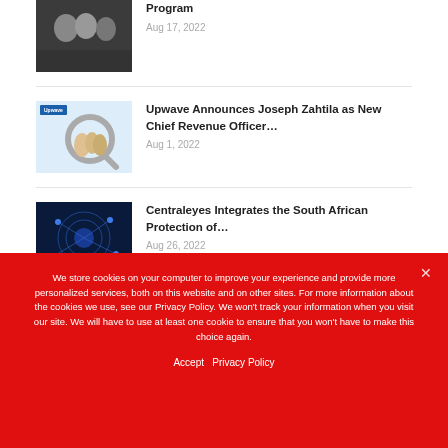[Figure (photo): Meeting room with people around a table, dark tones]
Program
Aug 17, 2022
[Figure (photo): Upwave branded image with magnifying glass over figures]
Upwave Announces Joseph Zahtila as New Chief Revenue Officer…
Aug 1, 2022
[Figure (photo): Cybersecurity network visualization on dark blue background]
Centraleyes Integrates the South African Protection of…
Aug 26, 2022
[Figure (photo): Partially visible article thumbnail for Momentive article]
Momentive Debuts GetFeedback
We store cookies on your computer to improve your experience and provide more personalized services, both on this website and on other sites. For more information about the cookies we use, see our Privacy Policy. We won't track your information when you visit our site. We will have to use at least one cookie to ensure that you won't have to make this choice again.
Accept   Privacy Policy